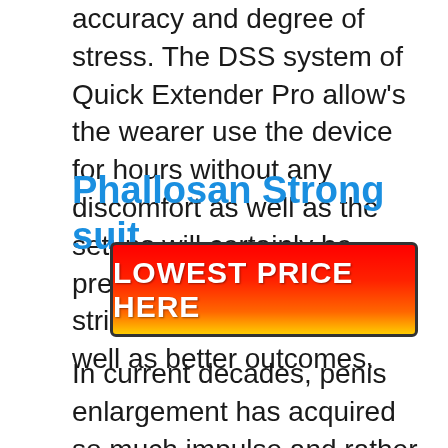accuracy and degree of stress. The DSS system of Quick Extender Pro allow's the wearer use the device for hours without any discomfort as well as the setups will certainly be preserved a lot more strictly, leading to faster as well as better outcomes.
Phallosan Strong suit
[Figure (other): Red to yellow gradient button with text LOWEST PRICE HERE in white bold uppercase letters]
In current decades, penis enlargement has acquired so much impulse and rather than the pills, supplements, creams and also exercise, the one point that has shown obvious outcomes are; penis gadgets. And also Phallosan forte is one of them. Phallosan